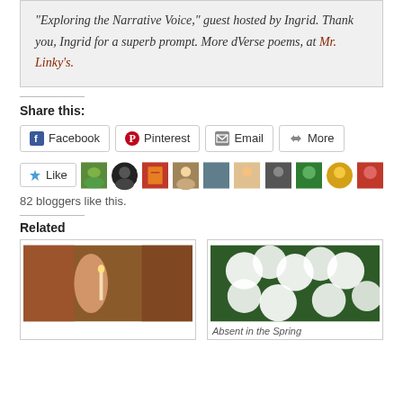"Exploring the Narrative Voice," guest hosted by Ingrid. Thank you, Ingrid for a superb prompt. More dVerse poems, at Mr. Linky's.
Share this:
Facebook   Pinterest   Email   More
82 bloggers like this.
Related
[Figure (photo): Painting of a person with a candle or light]
[Figure (photo): White flowers photograph]
Absent in the Spring